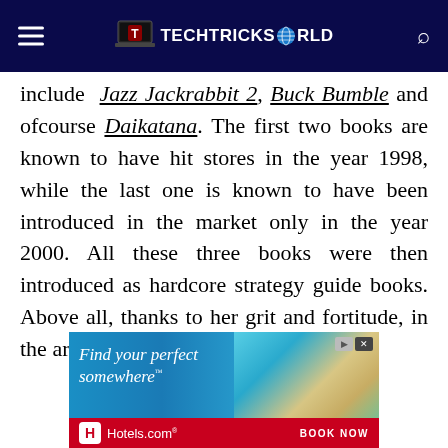TECHTRICKSWORLD
include Jazz Jackrabbit 2, Buck Bumble and ofcourse Daikatana. The first two books are known to have hit stores in the year 1998, while the last one is known to have been introduced in the market only in the year 2000. All these three books were then introduced as hardcore strategy guide books. Above all, thanks to her grit and fortitude, in the area of video
[Figure (screenshot): Advertisement banner for Hotels.com showing a beach vacation scene with text 'Find your perfect somewhere' and a red Hotels.com logo bar with BOOK NOW button]